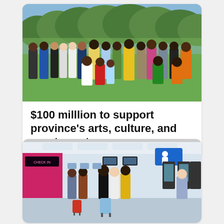[Figure (photo): A group of approximately 25 people posing outdoors on a grassy field with trees in the background. The group includes people in a mix of professional and traditional cultural attire.]
$100 milllion to support province's arts, culture, and sports sectors
[Figure (photo): Interior of a busy airport terminal with travelers and luggage. People standing in lines at check-in counters. A blue accessibility sign is visible overhead. Some travelers wear face masks.]